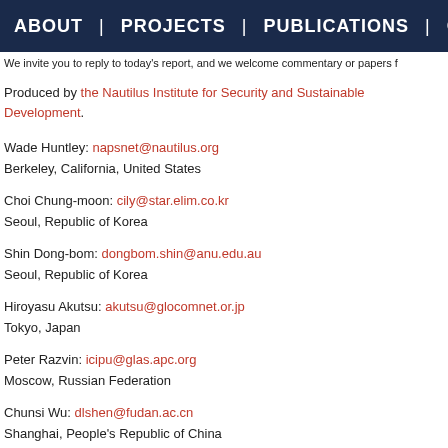ABOUT | PROJECTS | PUBLICATIONS | G
We invite you to reply to today's report, and we welcome commentary or papers f
Produced by the Nautilus Institute for Security and Sustainable Development.
Wade Huntley: napsnet@nautilus.org
Berkeley, California, United States
Choi Chung-moon: cily@star.elim.co.kr
Seoul, Republic of Korea
Shin Dong-bom: dongbom.shin@anu.edu.au
Seoul, Republic of Korea
Hiroyasu Akutsu: akutsu@glocomnet.or.jp
Tokyo, Japan
Peter Razvin: icipu@glas.apc.org
Moscow, Russian Federation
Chunsi Wu: dlshen@fudan.ac.cn
Shanghai, People's Republic of China